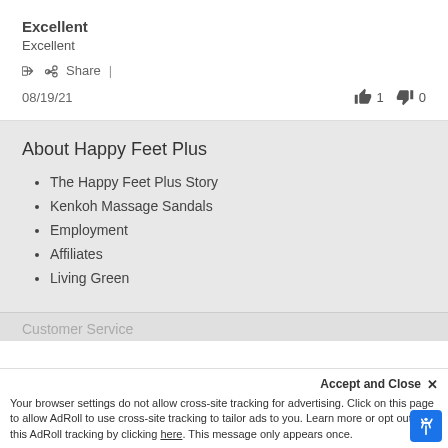Excellent
Excellent
Share  |
08/19/21  👍 1  👎 0
About Happy Feet Plus
The Happy Feet Plus Story
Kenkoh Massage Sandals
Employment
Affiliates
Living Green
Customer Service
Accept and Close ✕
Your browser settings do not allow cross-site tracking for advertising. Click on this page to allow AdRoll to use cross-site tracking to tailor ads to you. Learn more or opt out of this AdRoll tracking by clicking here. This message only appears once.